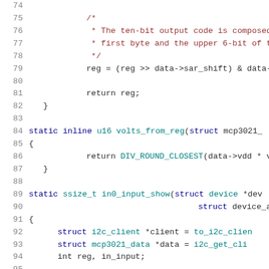Code listing lines 74-95, C source code for MCP3021 driver
74: (blank)
75:             /*
76:              * The ten-bit output code is composed o
77:              * first byte and the upper 6-bit of the
78:              */
79:             reg = (reg >> data->sar_shift) & data->s
80: (blank)
81:             return reg;
82:     }
83: (blank)
84: static inline u16 volts_from_reg(struct mcp3021_
85: {
86:             return DIV_ROUND_CLOSEST(data->vdd * val
87:     }
88: (blank)
89: static ssize_t in0_input_show(struct device *dev
90:                                     struct device_att
91: {
92:         struct i2c_client *client = to_i2c_clien
93:         struct mcp3021_data *data = i2c_get_cli
94:         int reg, in_input;
95: (blank)